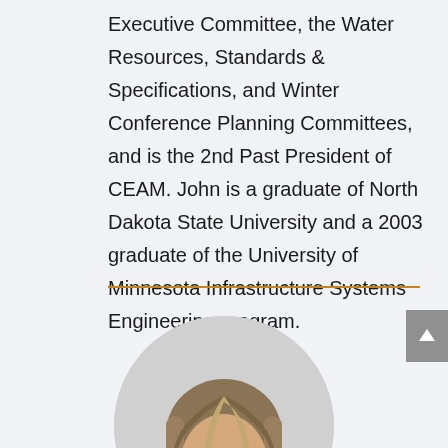Executive Committee, the Water Resources, Standards & Specifications, and Winter Conference Planning Committees, and is the 2nd Past President of CEAM. John is a graduate of North Dakota State University and a 2003 graduate of the University of Minnesota Infrastructure Systems Engineering program.
[Figure (photo): Circular cropped headshot photo of a woman with blonde/light brown hair, shown from shoulders up against a light gray circular background.]